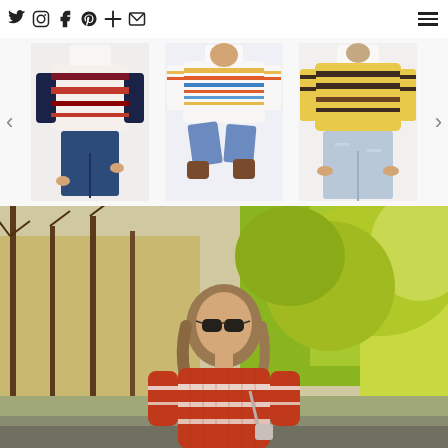Social media navigation bar with icons: Twitter, Instagram, Facebook, Pinterest, Plus, Email, and hamburger menu
[Figure (photo): Three striped sweater product thumbnails in a carousel with left and right navigation arrows: 1) burgundy/cream horizontal stripe sweater worn with dark jeans, 2) multicolor rainbow stripe sweater worn with jeans (model crouching), 3) yellow/brown stripe sweater worn with light distressed jeans]
[Figure (photo): Outdoor fashion photo of a woman wearing a rust/red chunky knit striped sweater with white stripes, sunglasses, standing in a park with autumn yellow-green trees in background]